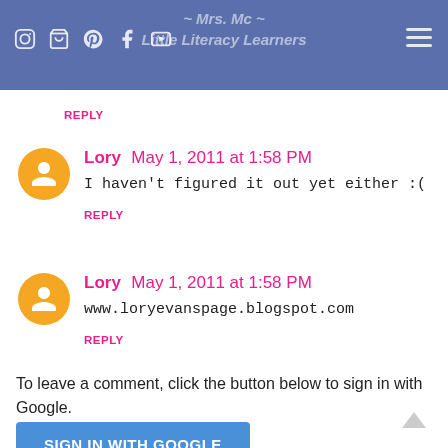Mrs. Mc / Little Literacy Learners
REPLY
Lory May 1, 2011 at 1:58 PM
I haven't figured it out yet either :(
REPLY
Lory May 1, 2011 at 1:58 PM
www.loryevanspage.blogspot.com
REPLY
To leave a comment, click the button below to sign in with Google.
SIGN IN WITH GOOGLE